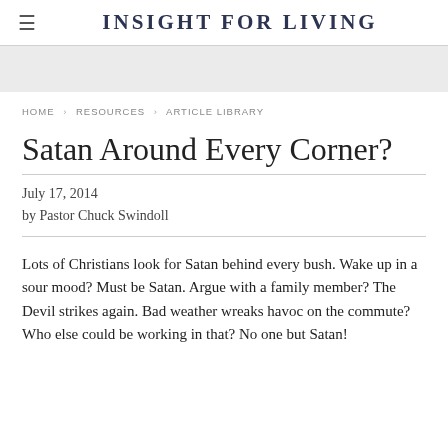INSIGHT FOR LIVING
[Figure (other): Gray banner/advertisement area]
HOME > RESOURCES > ARTICLE LIBRARY
Satan Around Every Corner?
July 17, 2014
by Pastor Chuck Swindoll
Lots of Christians look for Satan behind every bush. Wake up in a sour mood? Must be Satan. Argue with a family member? The Devil strikes again. Bad weather wreaks havoc on the commute? Who else could be working in that? No one but Satan!